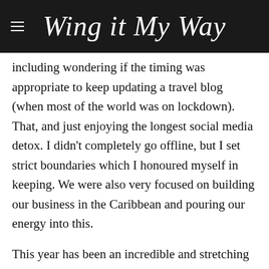Wing it My Way
including wondering if the timing was appropriate to keep updating a travel blog (when most of the world was on lockdown). That, and just enjoying the longest social media detox. I didn’t completely go offline, but I set strict boundaries which I honoured myself in keeping. We were also very focused on building our business in the Caribbean and pouring our energy into this.
This year has been an incredible and stretching journey... like many people, we have experienced many life-changing events in our personal lives, some magical and some not so much. So much has happened!